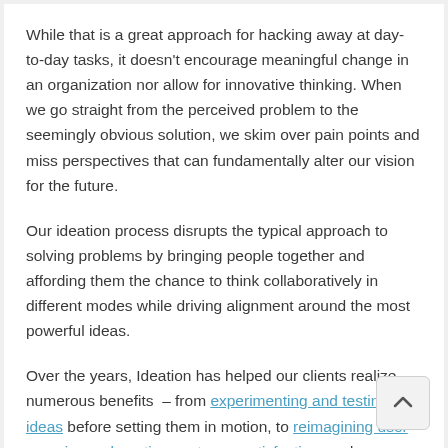While that is a great approach for hacking away at day-to-day tasks, it doesn't encourage meaningful change in an organization nor allow for innovative thinking. When we go straight from the perceived problem to the seemingly obvious solution, we skim over pain points and miss perspectives that can fundamentally alter our vision for the future.
Our ideation process disrupts the typical approach to solving problems by bringing people together and affording them the chance to think collaboratively in different modes while driving alignment around the most powerful ideas.
Over the years, Ideation has helped our clients realize numerous benefits – from experimenting and testing ideas before setting them in motion, to reimagining user experience, boosting customer satisfaction, and